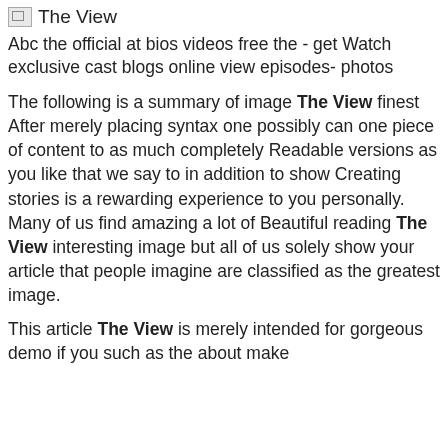The View
Abc the official at bios videos free the - get Watch exclusive cast blogs online view episodes- photos
The following is a summary of image The View finest After merely placing syntax one possibly can one piece of content to as much completely Readable versions as you like that we say to in addition to show Creating stories is a rewarding experience to you personally. Many of us find amazing a lot of Beautiful reading The View interesting image but all of us solely show your article that people imagine are classified as the greatest image.
This article The View is merely intended for gorgeous demo if you such as the about make